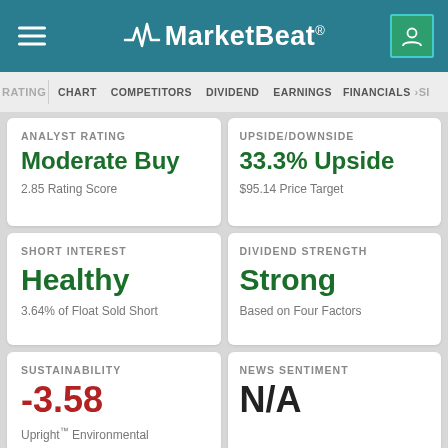MarketBeat
RATINGS | CHART | COMPETITORS | DIVIDEND | EARNINGS | FINANCIALS | INSIDE
ANALYST RATING
Moderate Buy
2.85 Rating Score
UPSIDE/DOWNSIDE
33.3% Upside
$95.14 Price Target
SHORT INTEREST
Healthy
3.64% of Float Sold Short
DIVIDEND STRENGTH
Strong
Based on Four Factors
SUSTAINABILITY
-3.58
Upright™ Environmental
NEWS SENTIMENT
N/A